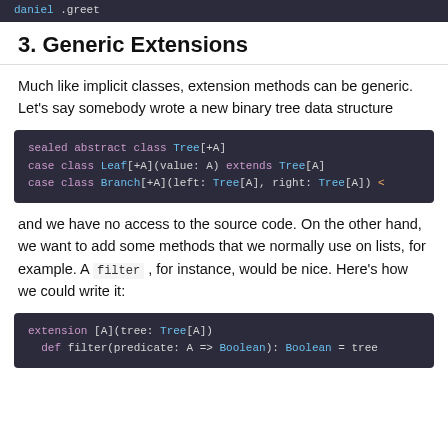daniel .greet
3. Generic Extensions
Much like implicit classes, extension methods can be generic. Let's say somebody wrote a new binary tree data structure
[Figure (screenshot): Code block showing Scala sealed abstract class Tree[+A] with Leaf and Branch case classes]
and we have no access to the source code. On the other hand, we want to add some methods that we normally use on lists, for example. A filter , for instance, would be nice. Here's how we could write it:
[Figure (screenshot): Code block showing Scala extension [A](tree: Tree[A]) with def filter method]